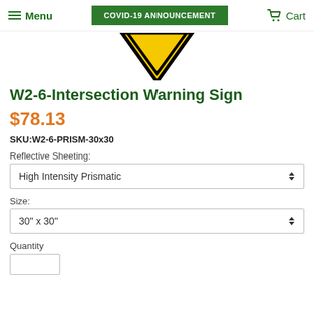Menu | COVID-19 ANNOUNCEMENT | Cart
[Figure (illustration): Yellow diamond/triangle warning sign (downward pointing triangle with black border), partially cropped at top]
W2-6-Intersection Warning Sign
$78.13
SKU:W2-6-PRISM-30x30
Reflective Sheeting:
High Intensity Prismatic
Size:
30" x 30"
Quantity